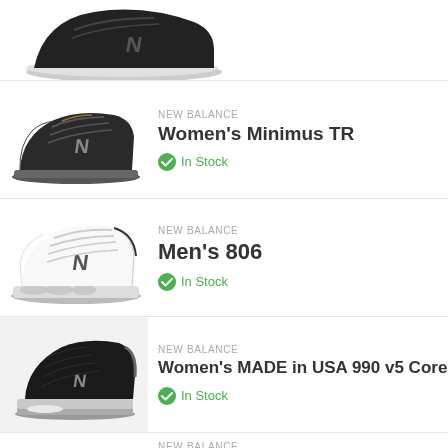[Figure (photo): Cropped bottom of a black New Balance sneaker, side profile view]
[Figure (photo): Black New Balance Women's Minimus TR training shoe, side profile]
NEW BALANCE
Women's Minimus TR
In Stock
[Figure (photo): White New Balance Men's 806 tennis/training shoe, side profile]
NEW BALANCE
Men's 806
In Stock
[Figure (photo): Black New Balance Women's MADE in USA 990 v5 Core running shoe on light gray background]
NEW BALANCE
Women's MADE in USA 990 v5 Core
In Stock
NEW BALANCE